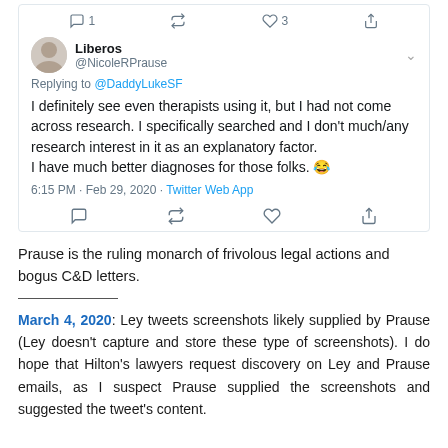[Figure (screenshot): Tweet by @NicoleRPrause (Liberos) replying to @DaddyLukeSF, saying: 'I definitely see even therapists using it, but I had not come across research. I specifically searched and I don't much/any research interest in it as an explanatory factor. I have much better diagnoses for those folks. 😂' Posted at 6:15 PM · Feb 29, 2020 · Twitter Web App.]
Prause is the ruling monarch of frivolous legal actions and bogus C&D letters.
March 4, 2020: Ley tweets screenshots likely supplied by Prause (Ley doesn't capture and store these type of screenshots). I do hope that Hilton's lawyers request discovery on Ley and Prause emails, as I suspect Prause supplied the screenshots and suggested the tweet's content.